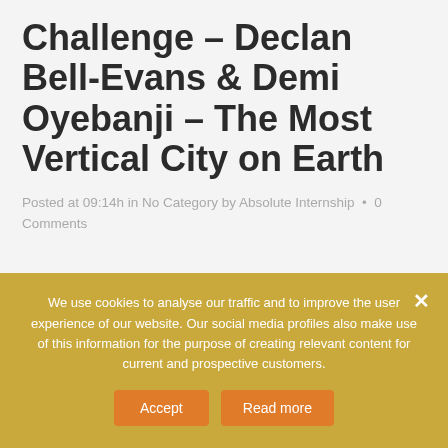Challenge – Declan Bell-Evans & Demi Oyebanji – The Most Vertical City on Earth
Posted at 09:14h in No Category by Absolute Internship • 0 Comments
[Figure (photo): Partial view of a photograph showing a light blue sky with diagonal lines, partially obscured by the cookie consent banner below.]
We use cookies to analyse our traffic and to improve the user experience of our website. Our social media profiles also make use of this information for the purpose of creating relevant content for current and prospective customers.